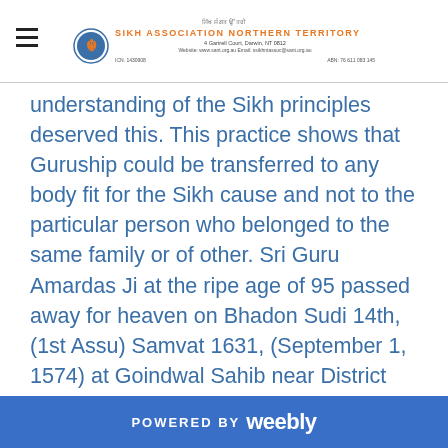Sikh Association Northern Territory
understanding of the Sikh principles deserved this. This practice shows that Guruship could be transferred to any body fit for the Sikh cause and not to the particular person who belonged to the same family or of other. Sri Guru Amardas Ji at the ripe age of 95 passed away for heaven on Bhadon Sudi 14th, (1st Assu) Samvat 1631, (September 1, 1574) at Goindwal Sahib near District Amritsar, after giving responsibility of Guruship to the Fourth Nanak, Sri Guru Ramdas Ji.
POWERED BY weebly